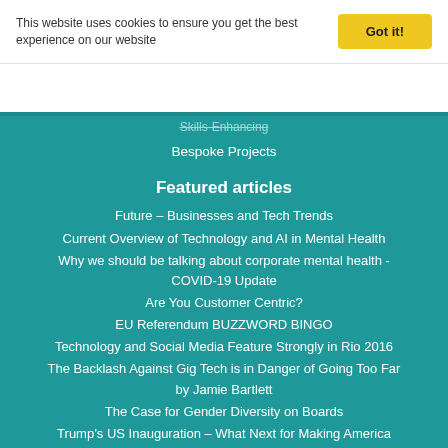This website uses cookies to ensure you get the best experience on our website
Got it!
Skills-Enhancing
Bespoke Projects
Featured articles
Future – Businesses and Tech Trends
Current Overview of Technology and AI in Mental Health
Why we should be talking about corporate mental health - COVID-19 Update
Are You Customer Centric?
EU Referendum BUZZWORD BINGO
Technology and Social Media Feature Strongly in Rio 2016
The Backlash Against Gig Tech is in Danger of Going Too Far by Jamie Bartlett
The Case for Gender Diversity on Boards
Trump's US Inauguration – What Next for Making America Great Again?
With or Without EU in a Global Britain? Our Emerging Talent debates